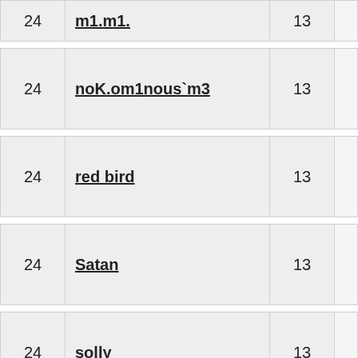| # | Name | Count |  |
| --- | --- | --- | --- |
| 24 | noK.om1nous`m3 | 13 |  |
| 24 | red bird | 13 |  |
| 24 | Satan | 13 |  |
| 24 | solly | 13 |  |